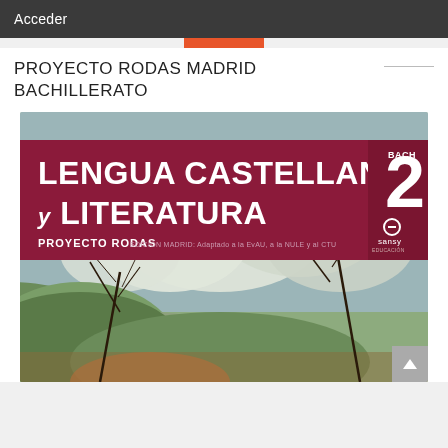Acceder
PROYECTO RODAS MADRID BACHILLERATO
[Figure (illustration): Book cover for 'Lengua Castellana y Literatura 2 BACH' – Proyecto Rodas, Edición Madrid, published by Sansy. Dark crimson/maroon banner across top section with large white bold text. Illustrated landscape background showing stylized sky with clouds, green hills, bare tree branches, and colorful terrain in muted tones of green, blue, grey and orange.]